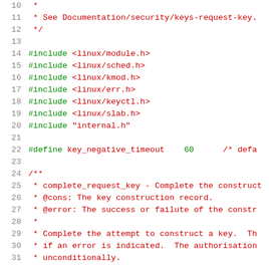Source code listing lines 10-31, C kernel code with includes, define, and comment block